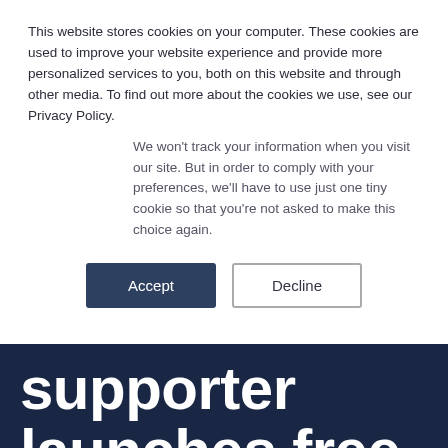This website stores cookies on your computer. These cookies are used to improve your website experience and provide more personalized services to you, both on this website and through other media. To find out more about the cookies we use, see our Privacy Policy.
We won't track your information when you visit our site. But in order to comply with your preferences, we'll have to use just one tiny cookie so that you're not asked to make this choice again.
Accept | Decline
supporter launches free training for entrepreneurs
HOME / TRANSMIT NEWS / STARTUP SUPPORTER LAUNCHES